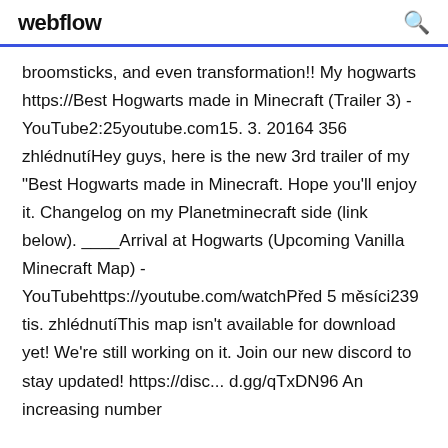webflow
broomsticks, and even transformation!! My hogwarts https://Best Hogwarts made in Minecraft (Trailer 3) - YouTube2:25youtube.com15. 3. 20164 356 zhlédnutíHey guys, here is the new 3rd trailer of my "Best Hogwarts made in Minecraft. Hope you'll enjoy it. Changelog on my Planetminecraft side (link below). ____Arrival at Hogwarts (Upcoming Vanilla Minecraft Map) - YouTubehttps://youtube.com/watchPřed 5 měsíci239 tis. zhlédnutíThis map isn't available for download yet! We're still working on it. Join our new discord to stay updated! https://disc... d.gg/qTxDN96 An increasing number